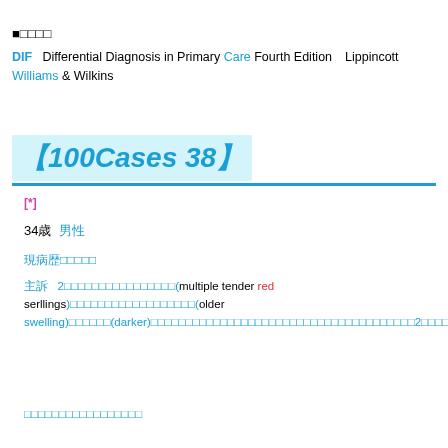DIF  Differential Diagnosis in Primary Care Fourth Edition　Lippincott Williams & Wilkins
■□□□□
【100Cases 38】
[*]
34歳　男性
現病歴□□□□□
主訴　2□□□□□□□□□□□□□□□□(multiple tender red serllings)□□□□□□□□□□□□□□□□□□(older swelling)□□□□□□(darker)□□□□□□□□□□□□□□□□□□□□□□□□□□□□□□□□□□□2□□□□□□□□□□□□□□□□□□□□□□□□□□□□□□□
□□□□□□□□□□□□□□□□□